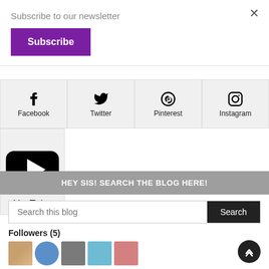Subscribe to our newsletter
Subscribe
[Figure (infographic): Social media icons grid: Facebook, Twitter, Pinterest, Instagram (top row), YouTube (second row)]
HEY SIS! SEARCH THE BLOG HERE!
Search this blog
Followers (5)
[Figure (photo): Five follower avatar thumbnails]